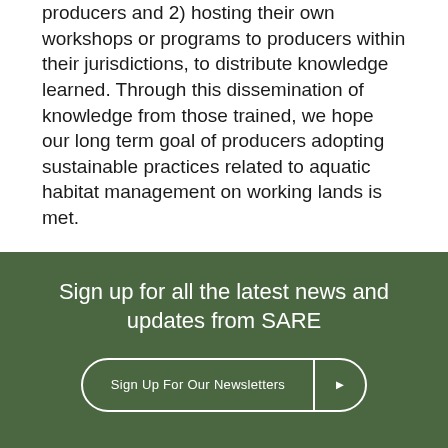producers and 2) hosting their own workshops or programs to producers within their jurisdictions, to distribute knowledge learned. Through this dissemination of knowledge from those trained, we hope our long term goal of producers adopting sustainable practices related to aquatic habitat management on working lands is met.
Any opinions, findings, conclusions, or recommendations expressed in this publication are those of the author(s) and do not necessarily reflect the view of the U.S. Department of Agriculture or SARE.
Sign up for all the latest news and updates from SARE
Sign Up For Our Newsletters ▶